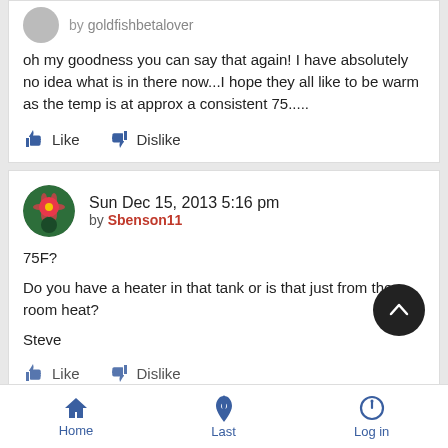by goldfishbetalover
oh my goodness you can say that again! I have absolutely no idea what is in there now...I hope they all like to be warm as the temp is at approx a consistent 75.....
Sun Dec 15, 2013 5:16 pm
by Sbenson11
75F?

Do you have a heater in that tank or is that just from the room heat?

Steve